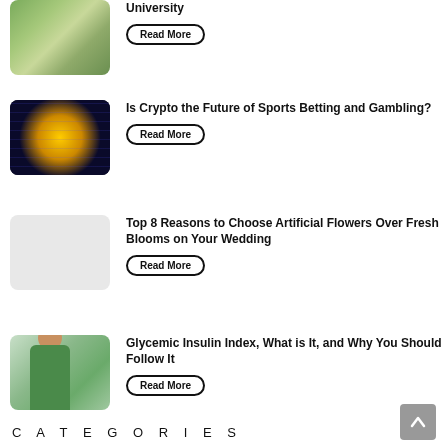[Figure (photo): Aerial view of a university campus]
University
Read More
[Figure (photo): Bitcoin coin on a keyboard with blue/purple lighting]
Is Crypto the Future of Sports Betting and Gambling?
Read More
[Figure (photo): Placeholder image (light grey box)]
Top 8 Reasons to Choose Artificial Flowers Over Fresh Blooms on Your Wedding
Read More
[Figure (photo): Person in green shirt looking at hands, likely checking blood sugar]
Glycemic Insulin Index, What is It, and Why You Should Follow It
Read More
CATEGORIES